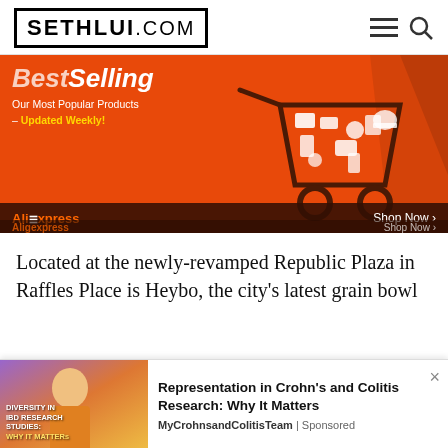SETHLUI.COM
[Figure (illustration): AliExpress Best Selling advertisement banner — orange background with shopping cart filled with products icons, text 'Best Selling Our Most Popular Products – Updated Weekly!' and 'AliExpress Shop Now >']
Located at the newly-revamped Republic Plaza in Raffles Place is Heybo, the city's latest grain bowl
[Figure (infographic): Sponsored notification ad for 'Representation in Crohn's and Colitis Research: Why It Matters' by MyCrohnsandColitisTeam, showing a woman photo on left with 'Diversity in IBD Research Studies: Why It Matters' overlay text, and ad title with source on right, with close X button]